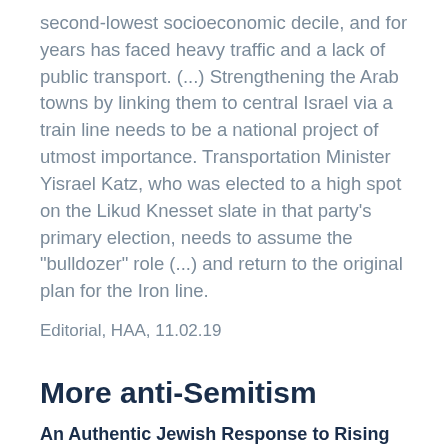second-lowest socioeconomic decile, and for years has faced heavy traffic and a lack of public transport. (...) Strengthening the Arab towns by linking them to central Israel via a train line needs to be a national project of utmost importance. Transportation Minister Yisrael Katz, who was elected to a high spot on the Likud Knesset slate in that party's primary election, needs to assume the "bulldozer" role (...) and return to the original plan for the Iron line.
Editorial, HAA, 11.02.19
More anti-Semitism
An Authentic Jewish Response to Rising Antisemitism